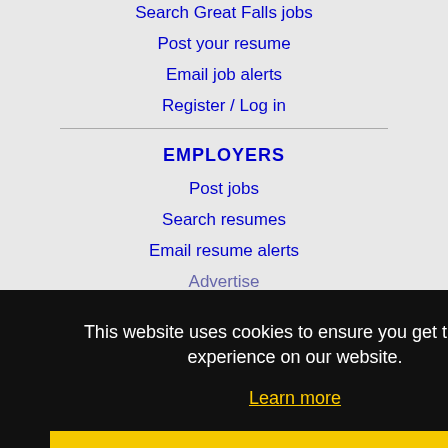Search Great Falls jobs
Post your resume
Email job alerts
Register / Log in
EMPLOYERS
Post jobs
Search resumes
Email resume alerts
Advertise
This website uses cookies to ensure you get the best experience on our website.
Learn more
Got it!